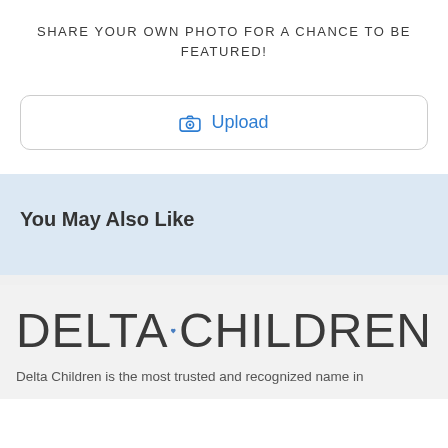SHARE YOUR OWN PHOTO FOR A CHANCE TO BE FEATURED!
[Figure (other): Upload button with camera icon and blue text reading 'Upload']
You May Also Like
[Figure (logo): Delta Children logo with blue heart symbol between 'DELTA' and 'CHILDREN' in large light-weight font]
Delta Children is the most trusted and recognized name in